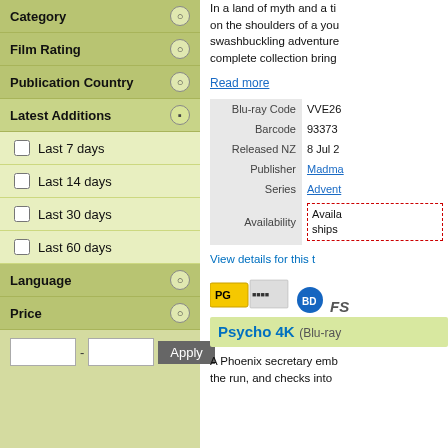Category
Film Rating
Publication Country
Latest Additions
Last 7 days
Last 14 days
Last 30 days
Last 60 days
Language
Price
In a land of myth and a ti on the shoulders of a you swashbuckling adventure complete collection bring
Read more
|  |  |
| --- | --- |
| Blu-ray Code | VVE26 |
| Barcode | 93373 |
| Released NZ | 8 Jul 2 |
| Publisher | Madma |
| Series | Advent |
| Availability | Available ships |
View details for this t
[Figure (screenshot): PG rating badge and Blu-ray FS disc icons]
Psycho 4K (Blu-ray)
A Phoenix secretary emb the run, and checks into